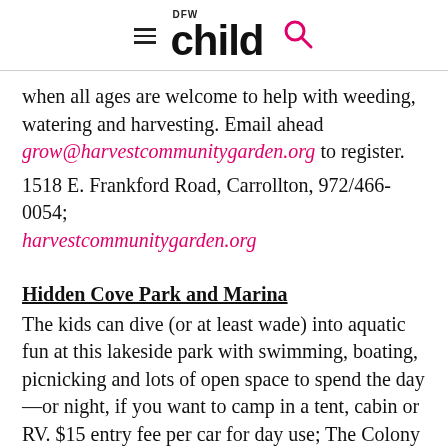DFW Child
when all ages are welcome to help with weeding, watering and harvesting. Email ahead grow@harvestcommunitygarden.org to register.
1518 E. Frankford Road, Carrollton, 972/466-0054; harvestcommunitygarden.org
Hidden Cove Park and Marina
The kids can dive (or at least wade) into aquatic fun at this lakeside park with swimming, boating, picnicking and lots of open space to spend the day—or night, if you want to camp in a tent, cabin or RV. $15 entry fee per car for day use; The Colony residents can buy a yearly pass for $65.